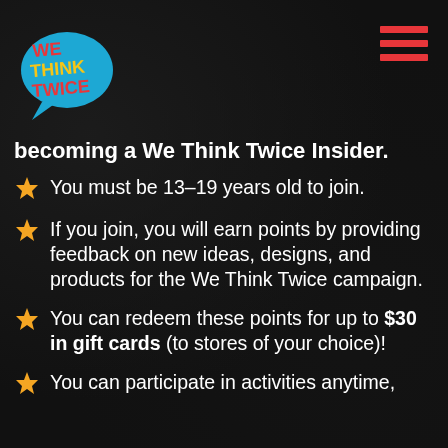We Think Twice
becoming a We Think Twice Insider.
You must be 13–19 years old to join.
If you join, you will earn points by providing feedback on new ideas, designs, and products for the We Think Twice campaign.
You can redeem these points for up to $30 in gift cards (to stores of your choice)!
You can participate in activities anytime,